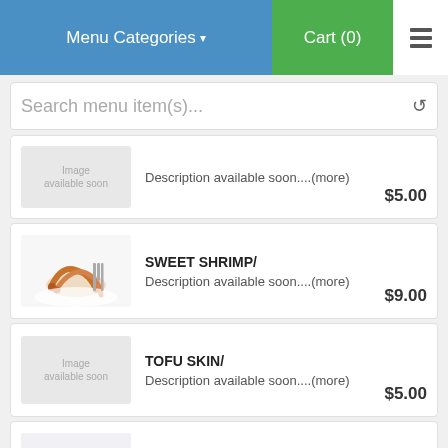Menu Categories | Cart (0)
Search menu item(s)...
Description available soon....(more) $5.00
SWEET SHRIMP/ Description available soon....(more) $9.00
TOFU SKIN/ Description available soon....(more) $5.00
TUNA/ Description available soon....(more) $7.00
WHITE TUNA/ Description available soon....(more)